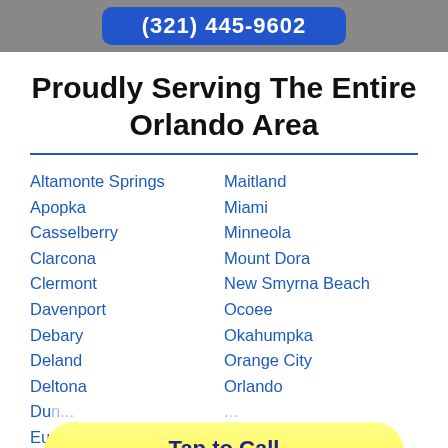[Figure (other): Blue rounded button at top with partial phone number visible]
Proudly Serving The Entire Orlando Area
Altamonte Springs
Maitland
Apopka
Miami
Casselberry
Minneola
Clarcona
Mount Dora
Clermont
New Smyrna Beach
Davenport
Ocoee
Debary
Okahumpka
Deland
Orange City
Deltona
Orlando
Dun...
...
Eu...
...
Fruitland Park
Polk City
[Figure (other): Yellow rounded tap-to-call button overlay: Tap to Call (321) 445-9602]